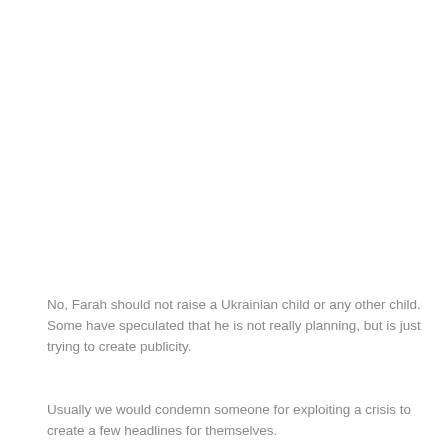No, Farah should not raise a Ukrainian child or any other child. Some have speculated that he is not really planning, but is just trying to create publicity.
Usually we would condemn someone for exploiting a crisis to create a few headlines for themselves.